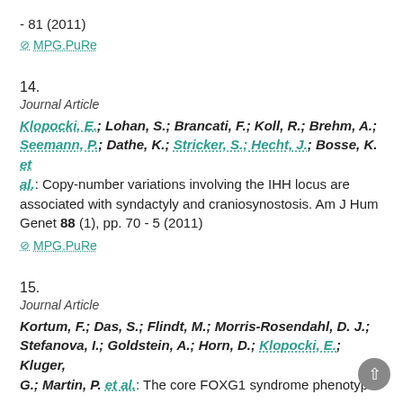- 81 (2011)
⊘ MPG.PuRe
14.
Journal Article
Klopocki, E.; Lohan, S.; Brancati, F.; Koll, R.; Brehm, A.; Seemann, P.; Dathe, K.; Stricker, S.; Hecht, J.; Bosse, K. et al.: Copy-number variations involving the IHH locus are associated with syndactyly and craniosynostosis. Am J Hum Genet 88 (1), pp. 70 - 5 (2011)
⊘ MPG.PuRe
15.
Journal Article
Kortum, F.; Das, S.; Flindt, M.; Morris-Rosendahl, D. J.; Stefanova, I.; Goldstein, A.; Horn, D.; Klopocki, E.; Kluger, G.; Martin, P. et al.: The core FOXG1 syndrome phenotyp